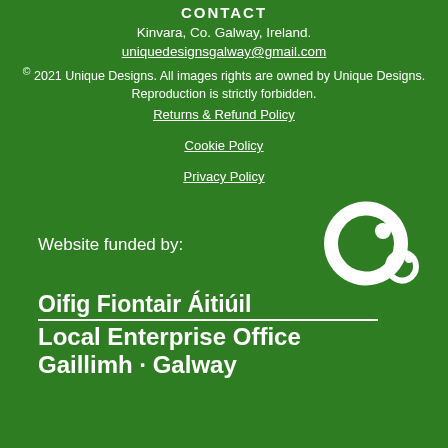CONTACT
Kinvara, Co. Galway, Ireland.
uniquedesignsgalway@gmail.com
© 2021 Unique Designs. All images rights are owned by Unique Designs. Reproduction is strictly forbidden.
Returns & Refund Policy
Cookie Policy
Privacy Policy
Website funded by:
[Figure (logo): Local Enterprise Office Gaillimh · Galway logo with stylized 'co' icon in white on green background, Irish and English text with dividing line]